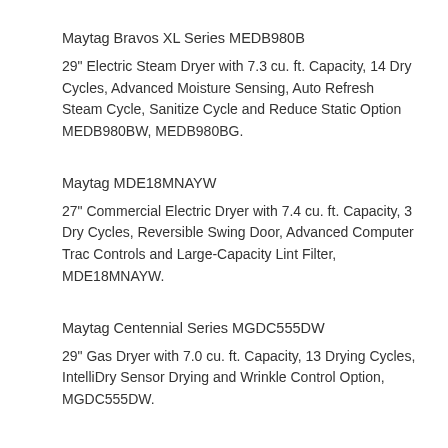Maytag Bravos XL Series MEDB980B
29" Electric Steam Dryer with 7.3 cu. ft. Capacity, 14 Dry Cycles, Advanced Moisture Sensing, Auto Refresh Steam Cycle, Sanitize Cycle and Reduce Static Option MEDB980BW, MEDB980BG.
Maytag MDE18MNAYW
27" Commercial Electric Dryer with 7.4 cu. ft. Capacity, 3 Dry Cycles, Reversible Swing Door, Advanced Computer Trac Controls and Large-Capacity Lint Filter, MDE18MNAYW.
Maytag Centennial Series MGDC555DW
29" Gas Dryer with 7.0 cu. ft. Capacity, 13 Drying Cycles, IntelliDry Sensor Drying and Wrinkle Control Option, MGDC555DW.